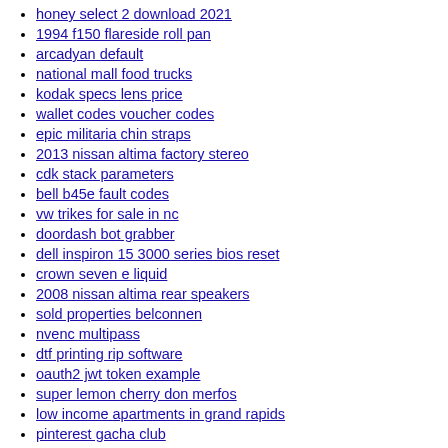honey select 2 download 2021
1994 f150 flareside roll pan
arcadyan default
national mall food trucks
kodak specs lens price
wallet codes voucher codes
epic militaria chin straps
2013 nissan altima factory stereo
cdk stack parameters
bell b45e fault codes
vw trikes for sale in nc
doordash bot grabber
dell inspiron 15 3000 series bios reset
crown seven e liquid
2008 nissan altima rear speakers
sold properties belconnen
nvenc multipass
dtf printing rip software
oauth2 jwt token example
super lemon cherry don merfos
low income apartments in grand rapids
pinterest gacha club
everstart maxx battery charger red light
used city bikes for sale
perkins ecm